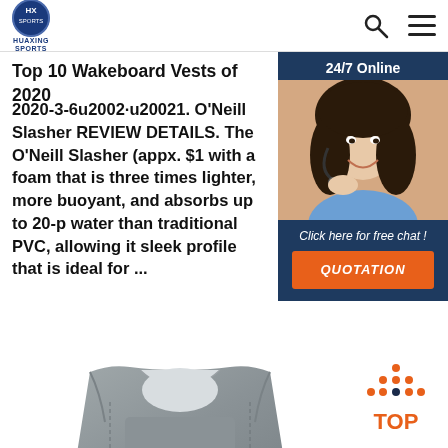HUAXING SPORTS
Top 10 Wakeboard Vests of 2020
2020-3-6u2002·u20021. O'Neill Slasher REVIEW DETAILS. The O'Neill Slasher (appx. $1 with a foam that is three times lighter, more buoyant, and absorbs up to 20-p water than traditional PVC, allowing it sleek profile that is ideal for ...
[Figure (photo): Orange 'Get Price' button]
[Figure (photo): 24/7 Online chat widget with customer service representative photo, 'Click here for free chat!' text, and orange QUOTATION button]
[Figure (photo): Gray wakeboard vest / life jacket product photo]
[Figure (illustration): Orange and dark 'TOP' back-to-top button with dots icon]